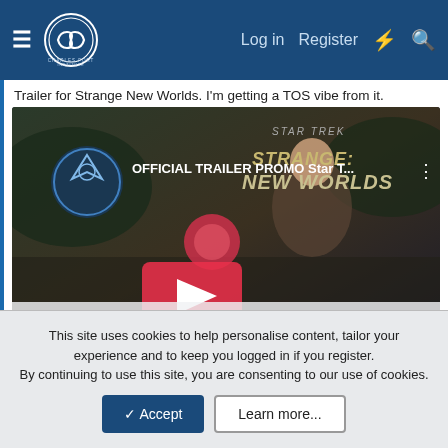Charles Fort Institute — Log in | Register
Trailer for Strange New Worlds. I'm getting a TOS vibe from it.
[Figure (screenshot): YouTube video thumbnail: OFFICIAL TRAILER PROMO Star Trek Strange New Worlds with play button and Click to expand overlay]
If I was Captain, anyone who came up with a flip cliche or humorous backchat right after I've given them a serious order would find themselves teleported into the ship's sewer system for fatberg duty.
Tigerhawk
This site uses cookies to help personalise content, tailor your experience and to keep you logged in if you register.
By continuing to use this site, you are consenting to our use of cookies.